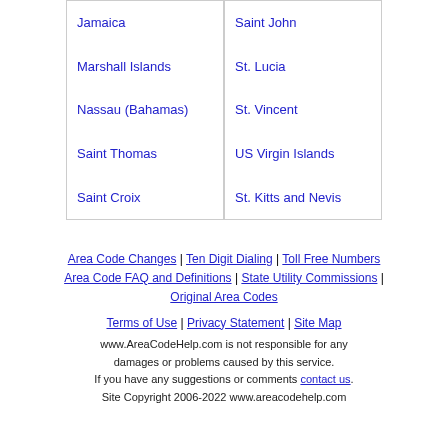Jamaica
Marshall Islands
Nassau (Bahamas)
Saint Thomas
Saint Croix
Saint John
St. Lucia
St. Vincent
US Virgin Islands
St. Kitts and Nevis
Area Code Changes | Ten Digit Dialing | Toll Free Numbers
Area Code FAQ and Definitions | State Utility Commissions |
Original Area Codes
Terms of Use | Privacy Statement | Site Map
www.AreaCodeHelp.com is not responsible for any damages or problems caused by this service. If you have any suggestions or comments contact us. Site Copyright 2006-2022 www.areacodehelp.com